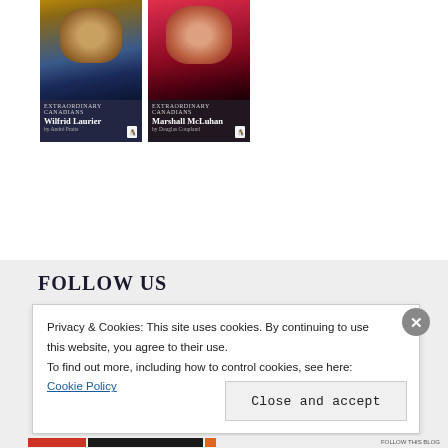[Figure (photo): Two book covers side by side: 'Wilfrid Laurier' with a portrait painting on a blue/gold background, and 'Marshall McLuhan' with a portrait on a red/pink background, both from a Penguin Extraordinary Canadians series]
FOLLOW US
Privacy & Cookies: This site uses cookies. By continuing to use this website, you agree to their use.
To find out more, including how to control cookies, see here:
Cookie Policy
Close and accept